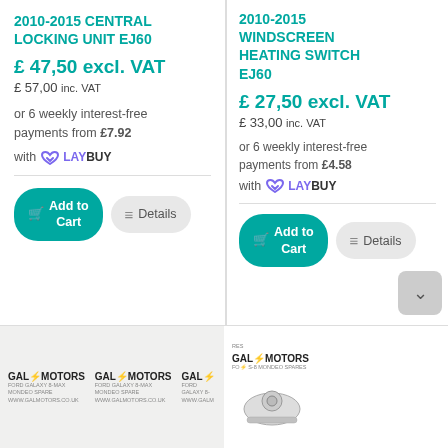2010-2015 CENTRAL LOCKING UNIT EJ60
£ 47,50 excl. VAT
£ 57,00 inc. VAT
or 6 weekly interest-free payments from £7.92 with LAYBUY
Add to Cart | Details
2010-2015 WINDSCREEN HEATING SWITCH EJ60
£ 27,50 excl. VAT
£ 33,00 inc. VAT
or 6 weekly interest-free payments from £4.58 with LAYBUY
Add to Cart | Details
[Figure (logo): GAL MOTORS logo repeated three times in bottom left section]
[Figure (photo): GAL MOTORS logo with car part image in bottom right section]